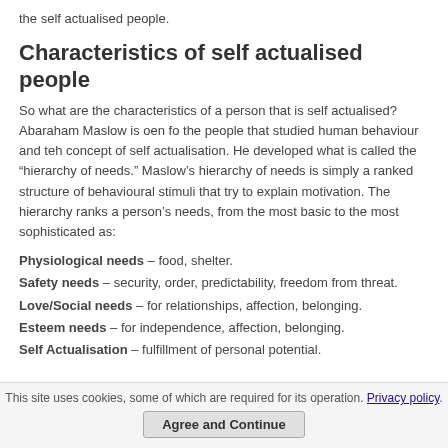the self actualised people.
Characteristics of self actualised people
So what are the characteristics of a person that is self actualised? Abaraham Maslow is oen fo the people that studied human behaviour and teh concept of self actualisation. He developed what is called the “hierarchy of needs.” Maslow’s hierarchy of needs is simply a ranked structure of behavioural stimuli that try to explain motivation. The hierarchy ranks a person’s needs, from the most basic to the most sophisticated as:
Physiological needs – food, shelter.
Safety needs – security, order, predictability, freedom from threat.
Love/Social needs – for relationships, affection, belonging.
Esteem needs – for independence, affection, belonging.
Self Actualisation – fulfillment of personal potential.
This site uses cookies, some of which are required for its operation. Privacy policy. Agree and Continue